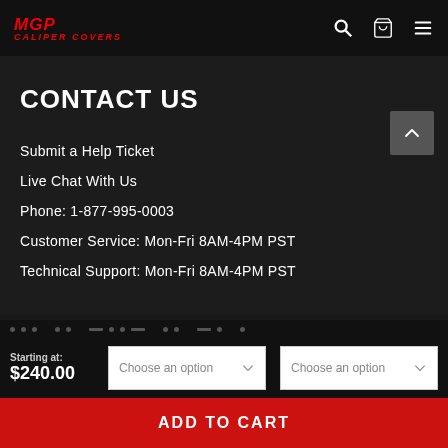MGP Caliper Covers
CONTACT US
Submit a Help Ticket
Live Chat With Us
Phone: 1-877-995-0003
Customer Service: Mon-Fri 8AM-4PM PST
Technical Support: Mon-Fri 8AM-4PM PST
Starting at: $240.00
Choose an option
Choose an option
ADD TO CART